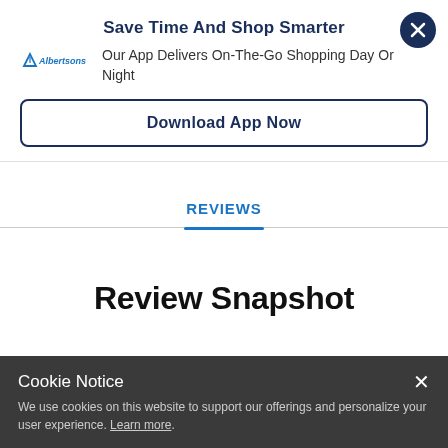Save Time And Shop Smarter
Our App Delivers On-The-Go Shopping Day Or Night
Download App Now
Reviews
Review Snapshot
Cookie Notice
We use cookies on this website to support our offerings and personalize your user experience. Learn more.